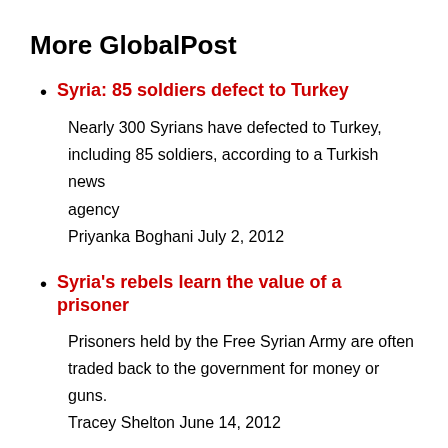More GlobalPost
Syria: 85 soldiers defect to Turkey
Nearly 300 Syrians have defected to Turkey, including 85 soldiers, according to a Turkish news agency
Priyanka Boghani July 2, 2012
Syria's rebels learn the value of a prisoner
Prisoners held by the Free Syrian Army are often traded back to the government for money or guns.
Tracey Shelton June 14, 2012